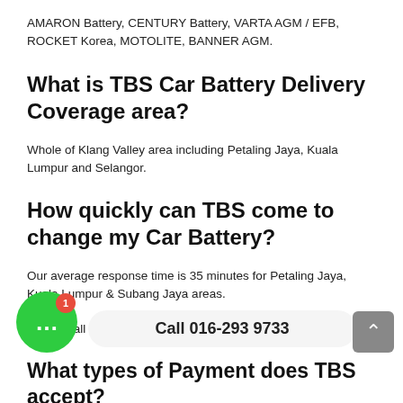AMARON Battery, CENTURY Battery, VARTA AGM / EFB, ROCKET Korea, MOTOLITE, BANNER AGM.
What is TBS Car Battery Delivery Coverage area?
Whole of Klang Valley area including Petaling Jaya, Kuala Lumpur and Selangor.
How quickly can TBS come to change my Car Battery?
Our average response time is 35 minutes for Petaling Jaya, Kuala Lumpur & Subang Jaya areas.
Please call or Whatsapp us for the latest info.
What types of Payment does TBS accept?
Cash / Credit Card / Touch 'n Go eWallet / GrabPay / Boost / DuitNow QR / Maybank QRPay / MAE / Shopee Pay / Bank...